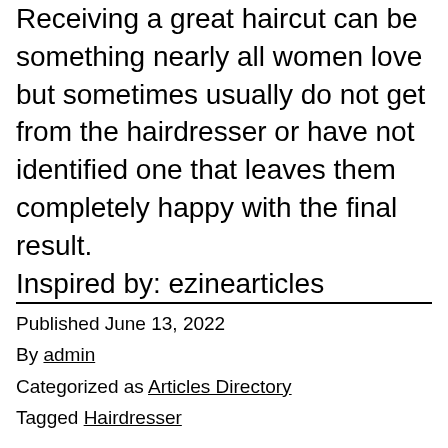Receiving a great haircut can be something nearly all women love but sometimes usually do not get from the hairdresser or have not identified one that leaves them completely happy with the final result.
Inspired by: ezinearticles
Published June 13, 2022
By admin
Categorized as Articles Directory
Tagged Hairdresser